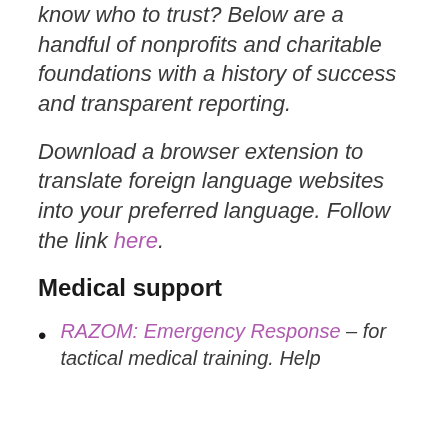know who to trust? Below are a handful of nonprofits and charitable foundations with a history of success and transparent reporting.
Download a browser extension to translate foreign language websites into your preferred language. Follow the link here.
Medical support
RAZOM: Emergency Response – for tactical medical training. Help